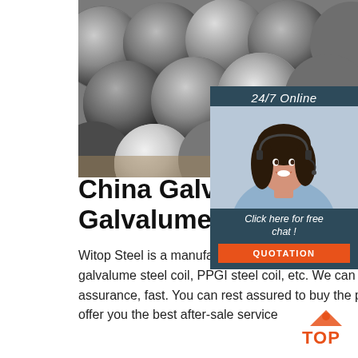[Figure (photo): Photo of multiple cylindrical steel bars/rods stacked together, showing metallic grey surface texture]
[Figure (photo): Sidebar with '24/7 Online' label, photo of female customer service agent wearing headset and smiling, 'Click here for free chat!' text, and orange QUOTATION button]
China Galvanized Steel / Galvalume Steel Coil ...
Witop Steel is a manufactures, specializing in production of galvanized steel coil, galvalume steel coil, PPGI steel coil, etc. We can provide customers with quality assurance, fast. You can rest assured to buy the products from our factory and we will offer you the best after-sale service
[Figure (logo): TOP logo with orange triangle/mountain icon and orange text reading TOP]